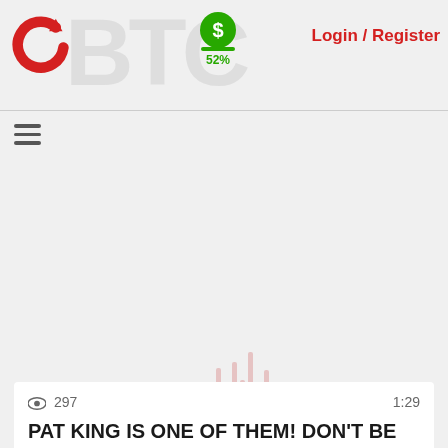Login / Register | 52%
[Figure (logo): Red circular arrow logo (BitChute)]
[Figure (infographic): Green dollar coin icon with 52% label]
[Figure (infographic): Dark crescent moon icon (dark mode toggle)]
Login / Register
[Figure (infographic): Waveform audio bars in light pink/red]
297 views  1:29
PAT KING IS ONE OF THEM! DON'T BE DUMB AND FOLLOW HIM
NWO KILLA
WATCH THESE VIDEOS - ELON MUSK IS ONE OF THEM. GROW SOME BALLS AND REALIZE THAT NO ONES COMING TO SAVE U
https://www.bitchute.com/video/OAemCGkn
ALEX JONES BACKTRACKED ON THE
1 month ago